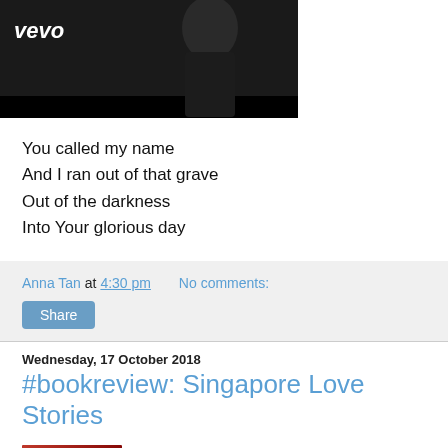[Figure (screenshot): Vevo music video thumbnail showing a dark figure with black outfit, vevo logo top-left, black bar at bottom]
You called my name
And I ran out of that grave
Out of the darkness
Into Your glorious day
Anna Tan at 4:30 pm   No comments:
Share
Wednesday, 17 October 2018
#bookreview: Singapore Love Stories
[Figure (photo): Book cover of Singapore Love Stories - red background with stacked figures]
Singapore Love Stories by Verena Tay
My rating: 4 of 5 stars
I might have been a little too distracted to